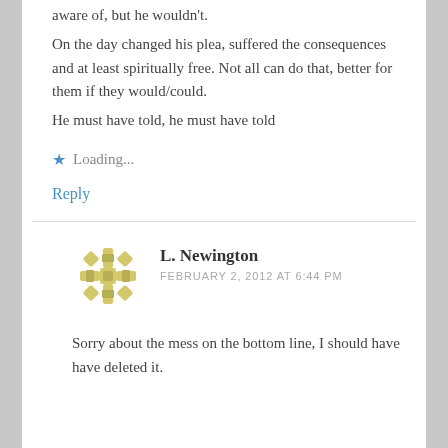aware of, but he wouldn't.
On the day changed his plea, suffered the consequences and at least spiritually free. Not all can do that, better for them if they would/could.
He must have told, he must have told
Loading...
Reply
L. Newington
FEBRUARY 2, 2012 AT 6:44 PM
Sorry about the mess on the bottom line, I should have have deleted it.